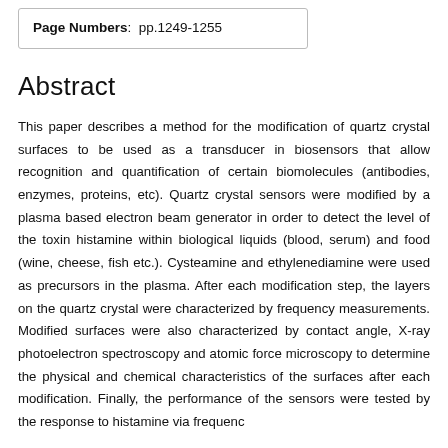| Page Numbers:  pp.1249-1255 |
Abstract
This paper describes a method for the modification of quartz crystal surfaces to be used as a transducer in biosensors that allow recognition and quantification of certain biomolecules (antibodies, enzymes, proteins, etc). Quartz crystal sensors were modified by a plasma based electron beam generator in order to detect the level of the toxin histamine within biological liquids (blood, serum) and food (wine, cheese, fish etc.). Cysteamine and ethylenediamine were used as precursors in the plasma. After each modification step, the layers on the quartz crystal were characterized by frequency measurements. Modified surfaces were also characterized by contact angle, X-ray photoelectron spectroscopy and atomic force microscopy to determine the physical and chemical characteristics of the surfaces after each modification. Finally, the performance of the sensors were tested by the response to histamine via frequency